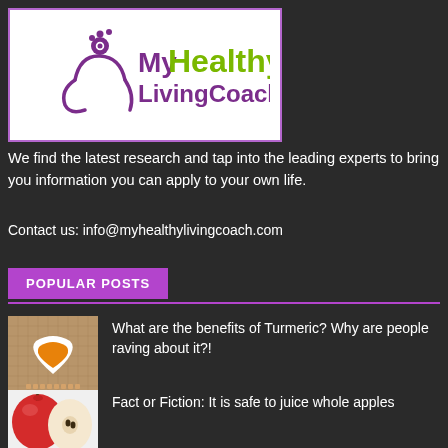[Figure (logo): MyHealthy LivingCoach logo with purple figure and green Healthy text]
We find the latest research and tap into the leading experts to bring you information you can apply to your own life.
Contact us: info@myhealthylivingcoach.com
POPULAR POSTS
[Figure (photo): Heart-shaped bowl with turmeric powder on burlap]
What are the benefits of Turmeric? Why are people raving about it?!
[Figure (photo): Sliced red apple]
Fact or Fiction: It is safe to juice whole apples